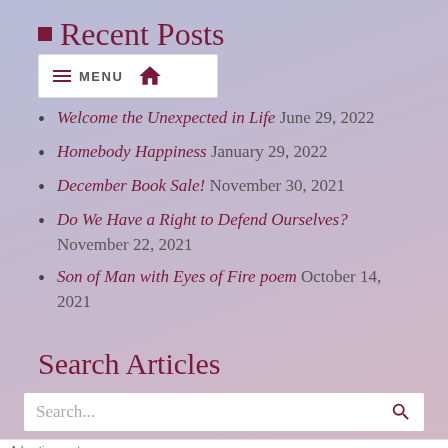Recent Posts
[Figure (other): Navigation menu bar with hamburger icon, MENU label, and home icon]
Welcome the Unexpected in Life June 29, 2022
Homebody Happiness January 29, 2022
December Book Sale! November 30, 2021
Do We Have a Right to Defend Ourselves? November 22, 2021
Son of Man with Eyes of Fire poem October 14, 2021
Search Articles
Search...
Advertisements
[Figure (other): Advertisement banner with WordPress VIP logo and Learn more button]